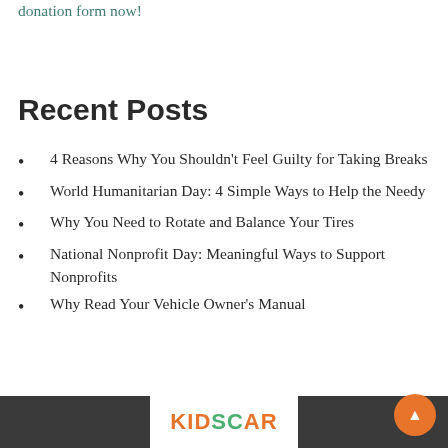donation form now!
Recent Posts
4 Reasons Why You Shouldn't Feel Guilty for Taking Breaks
World Humanitarian Day: 4 Simple Ways to Help the Needy
Why You Need to Rotate and Balance Your Tires
National Nonprofit Day: Meaningful Ways to Support Nonprofits
Why Read Your Vehicle Owner's Manual
[Figure (logo): KIDSCAR logo in orange and green lettering on white background, with dark footer bar on sides]